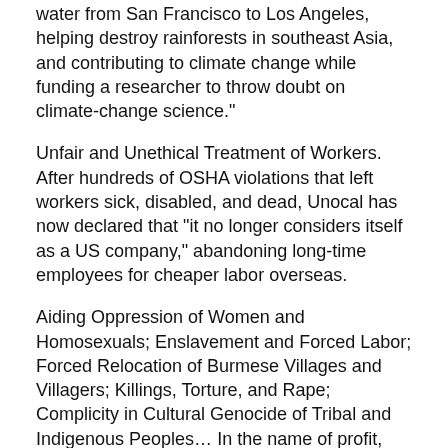water from San Francisco to Los Angeles, helping destroy rainforests in southeast Asia, and contributing to climate change while funding a researcher to throw doubt on climate-change science."
Unfair and Unethical Treatment of Workers. After hundreds of OSHA violations that left workers sick, disabled, and dead, Unocal has now declared that "it no longer considers itself as a US company," abandoning long-time employees for cheaper labor overseas.
Aiding Oppression of Women and Homosexuals; Enslavement and Forced Labor; Forced Relocation of Burmese Villages and Villagers; Killings, Torture, and Rape; Complicity in Cultural Genocide of Tribal and Indigenous Peoples... In the name of profit, Unocal has colluded with some of the most oppressive regimes in the modern world, for example Burma and Afghanistan.